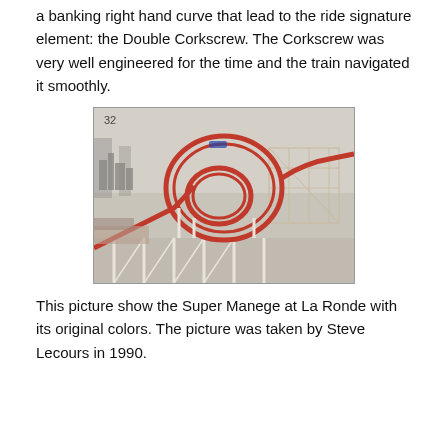a banking right hand curve that lead to the ride signature element: the Double Corkscrew. The Corkscrew was very well engineered for the time and the train navigated it smoothly.
[Figure (photo): Vintage photograph labeled '32' in the top left corner showing the Super Manege roller coaster at La Ronde with red tracks and white support structure, featuring a double corkscrew element. City skyline and a wooden roller coaster visible in the background. Crowd of visitors visible at the bottom left.]
This picture show the Super Manege at La Ronde with its original colors. The picture was taken by Steve Lecours in 1990.